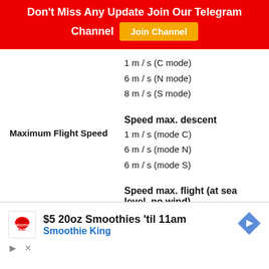Don't Miss Any Update Join Our Telegram Channel
1 m / s (C mode)
6 m / s (N mode)
8 m / s (S mode)
Speed max. descent
1 m / s (mode C)
Maximum Flight Speed
6 m / s (mode N)
6 m / s (mode S)
Speed max. flight (at sea level, no wind)
[Figure (infographic): Advertisement banner: $5 20oz Smoothies 'til 11am - Smoothie King]